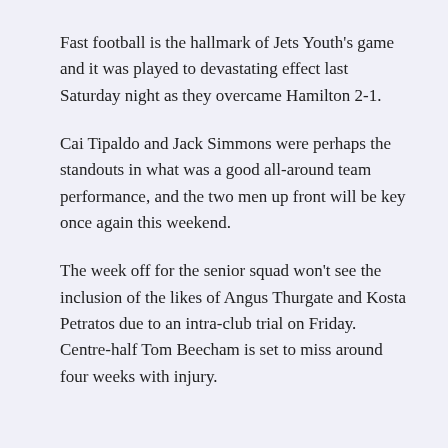Fast football is the hallmark of Jets Youth's game and it was played to devastating effect last Saturday night as they overcame Hamilton 2-1.
Cai Tipaldo and Jack Simmons were perhaps the standouts in what was a good all-around team performance, and the two men up front will be key once again this weekend.
The week off for the senior squad won't see the inclusion of the likes of Angus Thurgate and Kosta Petratos due to an intra-club trial on Friday. Centre-half Tom Beecham is set to miss around four weeks with injury.